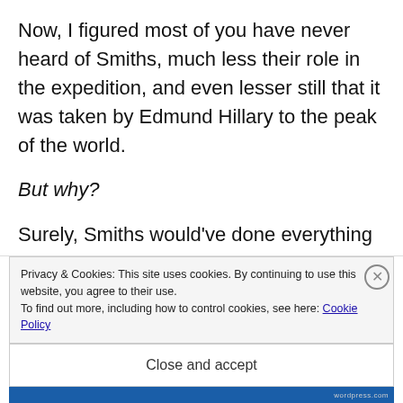Now, I figured most of you have never heard of Smiths, much less their role in the expedition, and even lesser still that it was taken by Edmund Hillary to the peak of the world.
But why?
Surely, Smiths would've done everything in its capacity to ensure that this was never forgotten?
I mean, look at Omega: half a century has gone by
Privacy & Cookies: This site uses cookies. By continuing to use this website, you agree to their use.
To find out more, including how to control cookies, see here: Cookie Policy
Close and accept